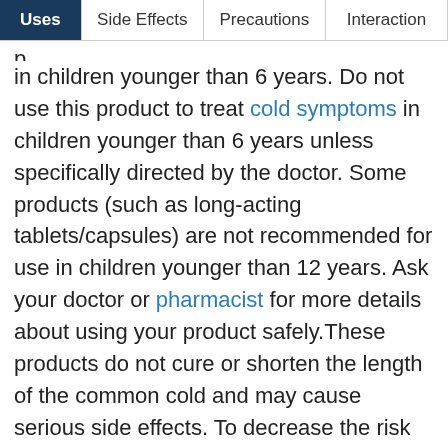Uses | Side Effects | Precautions | Interactions
in children younger than 6 years. Do not use this product to treat cold symptoms in children younger than 6 years unless specifically directed by the doctor. Some products (such as long-acting tablets/capsules) are not recommended for use in children younger than 12 years. Ask your doctor or pharmacist for more details about using your product safely.These products do not cure or shorten the length of the common cold and may cause serious side effects. To decrease the risk for serious side effects, carefully follow all dosage directions. Do not